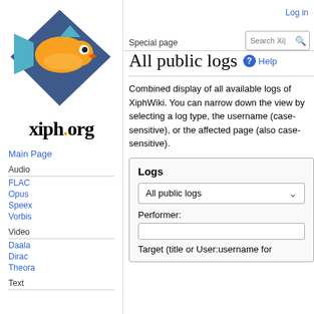[Figure (logo): Xiph.org logo: orange fish on blue diamond, with 'xiph.org' text below]
Main Page
Audio
FLAC
Opus
Speex
Vorbis
Video
Daala
Dirac
Theora
Text
Log in
Special page
All public logs
Combined display of all available logs of XiphWiki. You can narrow down the view by selecting a log type, the username (case-sensitive), or the affected page (also case-sensitive).
Logs
All public logs
Performer:
Target (title or User:username for